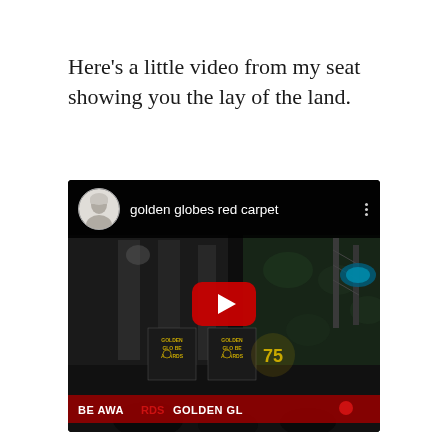Here's a little video from my seat showing you the lay of the land.
[Figure (screenshot): YouTube video embed showing the Golden Globes red carpet. The video thumbnail shows a dark nighttime scene with hedges, lighting equipment, and Golden Globe Awards signage. The video header shows a circular avatar of a person (short gray hair) and the title 'golden globes red carpet'. A large red YouTube play button is visible in the center. The bottom shows a red banner with text 'BE AWARDS  GOLDEN GLO']